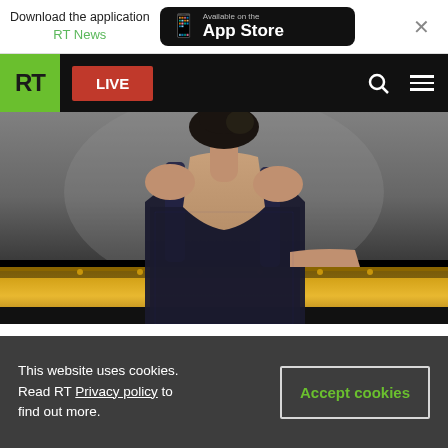Download the application RT News | Available on the App Store
[Figure (screenshot): RT News website navigation bar with green RT logo, red LIVE button, search icon, and hamburger menu on black background]
[Figure (photo): Female pianist in black dress leaning over a grand piano with gold interior, photographed from upper body]
Too hot to Handel: Meet top female pianist putting the sexy into classical music
This website uses cookies. Read RT Privacy policy to find out more.